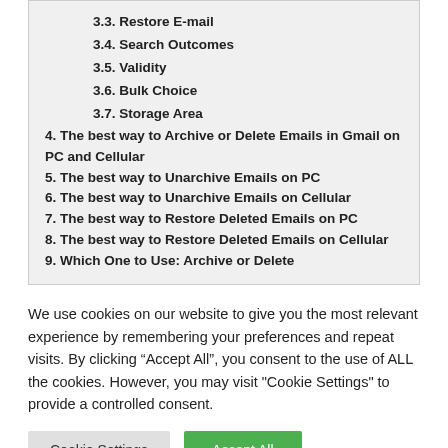3.3. Restore E-mail
3.4. Search Outcomes
3.5. Validity
3.6. Bulk Choice
3.7. Storage Area
4. The best way to Archive or Delete Emails in Gmail on PC and Cellular
5. The best way to Unarchive Emails on PC
6. The best way to Unarchive Emails on Cellular
7. The best way to Restore Deleted Emails on PC
8. The best way to Restore Deleted Emails on Cellular
9. Which One to Use: Archive or Delete
We use cookies on our website to give you the most relevant experience by remembering your preferences and repeat visits. By clicking “Accept All”, you consent to the use of ALL the cookies. However, you may visit "Cookie Settings" to provide a controlled consent.